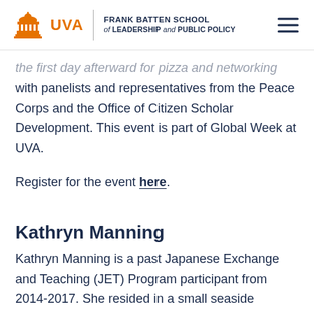UVA | FRANK BATTEN SCHOOL of LEADERSHIP and PUBLIC POLICY
the first day afterward for pizza and networking with panelists and representatives from the Peace Corps and the Office of Citizen Scholar Development. This event is part of Global Week at UVA.
Register for the event here.
Kathryn Manning
Kathryn Manning is a past Japanese Exchange and Teaching (JET) Program participant from 2014-2017. She resided in a small seaside